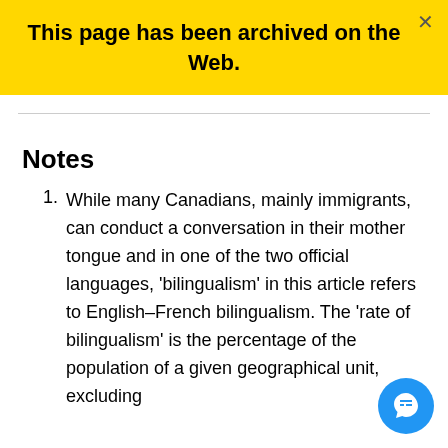This page has been archived on the Web.
Notes
While many Canadians, mainly immigrants, can conduct a conversation in their mother tongue and in one of the two official languages, 'bilingualism' in this article refers to English–French bilingualism. The 'rate of bilingualism' is the percentage of the population of a given geographical unit, excluding